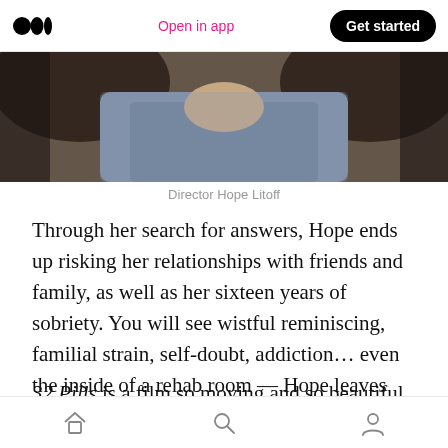Open in app  Get started
[Figure (photo): Close-up photo of a person wearing a denim jacket, showing shoulders and back of head with dark hair]
Director Hope Litoff
Through her search for answers, Hope ends up risking her relationships with friends and family, as well as her sixteen years of sobriety. You will see wistful reminiscing, familial strain, self-doubt, addiction… even the inside of a rehab room — Hope leaves nothing out of the picture.
32 Pills is a film so moving and so beautiful that it
Home  Search  Profile